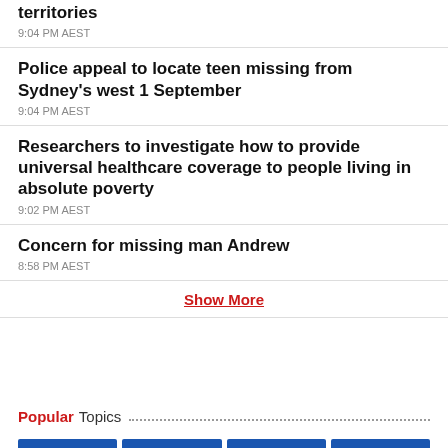territories
9:04 PM AEST
Police appeal to locate teen missing from Sydney's west 1 September
9:04 PM AEST
Researchers to investigate how to provide universal healthcare coverage to people living in absolute poverty
9:02 PM AEST
Concern for missing man Andrew
8:58 PM AEST
Show More
Popular Topics